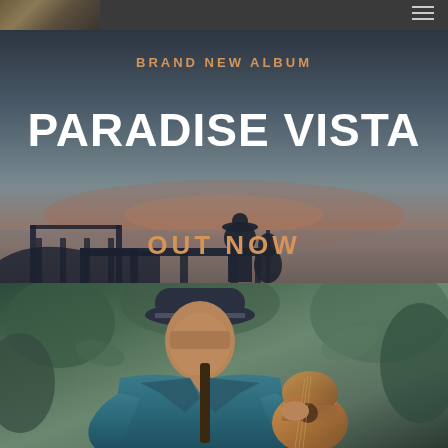[Figure (photo): Website screenshot showing a musician's album promotion page. Top section has a dark header strip with a thumbnail photo on the left and hamburger menu icon on the right. Hero section shows a dusk/sunset scene with a silhouetted guitarist on a pier, overlaid with text promoting 'BRAND NEW ALBUM - PARADISE VISTA - OUT NOW' and a 'GRAB YOUR COPY' button. Bottom section shows a photo of a man in a teal/blue jacket and fedora hat playing a classical guitar outdoors.]